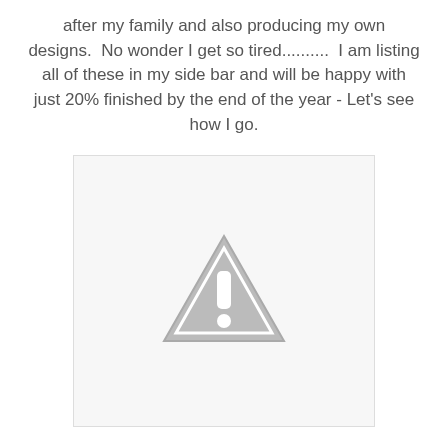after my family and also producing my own designs.  No wonder I get so tired..........  I am listing all of these in my side bar and will be happy with just 20% finished by the end of the year - Let's see how I go.
[Figure (other): Placeholder image box with a grey warning triangle / exclamation mark icon in the center, indicating a missing or unavailable image.]
Look at this gorgeous quilt designed by the Gumtree Girls - "Springtime"